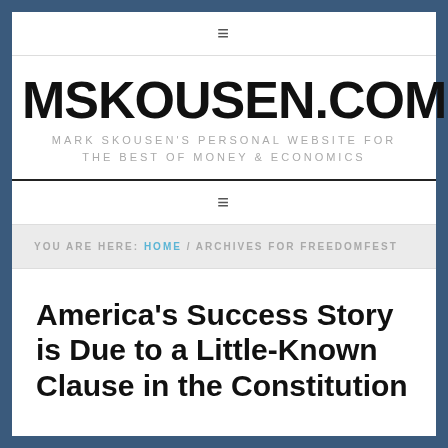≡
MSKOUSEN.COM
MARK SKOUSEN'S PERSONAL WEBSITE FOR THE BEST OF MONEY & ECONOMICS
≡
YOU ARE HERE: HOME / ARCHIVES FOR FREEDOMFEST
America's Success Story is Due to a Little-Known Clause in the Constitution